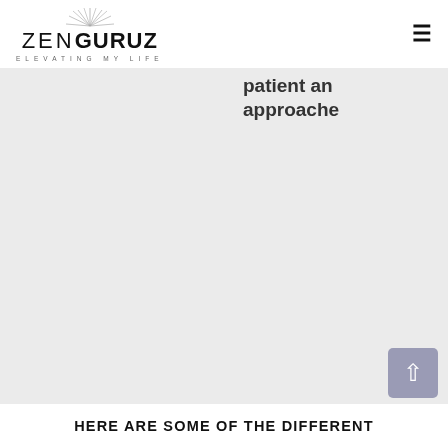[Figure (logo): ZenGuruz logo with sunburst graphic above text. Text reads ZEN GURUZ with tagline ELEVATING MY LIFE]
patient an
approache
HERE ARE SOME OF THE DIFFERENT